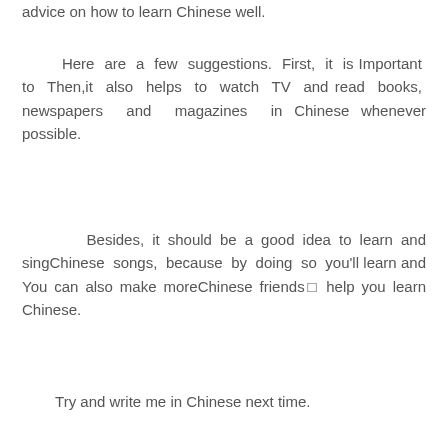advice on how to learn Chinese well.
Here are a few suggestions. First, it is Important to Then,it also helps to watch TV and read books, newspapers and magazines in Chinese whenever possible.
Besides, it should be a good idea to learn and singChinese songs, because by doing so you'll learn and You can also make moreChinese friends  help you learn Chinese.
Try and write me in Chinese next time.